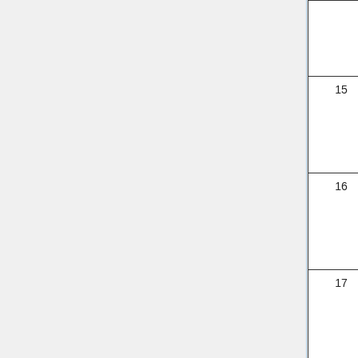| # | Variable Name | Description |
| --- | --- | --- |
|  |  | disk. sec (=… |
| 15 | Input_Opt%NESTED_I1
Input_Opt%NESTED_J1 | These indices LEFT in whi being |
| 16 | Input_Opt%NESTED_I2
Input_Opt%NESTED_J2 | These latitu UPPE windo condi |
| 17 | Input_Opt%NESTED_I0W
Input_Opt%NESTED_J0W
Input_Opt%NESTED_I0E
Input_Opt%NESTED_J0E | These and la the w windo actua transp smalli |